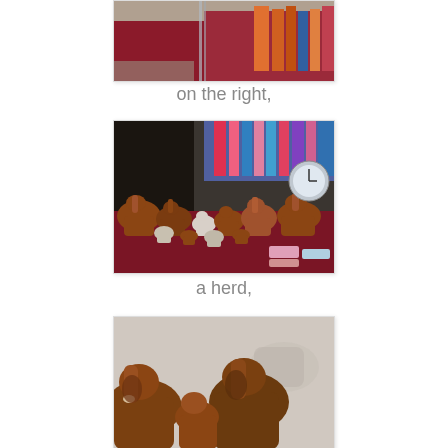[Figure (photo): Top portion of a market stall with a dark red/crimson tablecloth covered with colorful scarves and fabric items on the right side, photographed from above.]
on the right,
[Figure (photo): A market table covered with a dark red cloth displaying numerous elephant figurines of various sizes and materials (brown resin, white ceramic), with colorful fabrics visible in the background.]
a herd,
[Figure (photo): Close-up of brown wooden or resin elephant figurines on a market stall, cropped at bottom of page.]